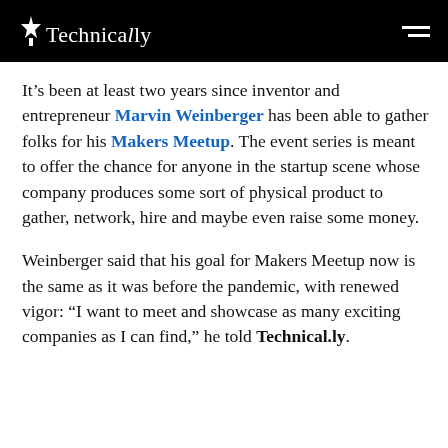Technically
It’s been at least two years since inventor and entrepreneur Marvin Weinberger has been able to gather folks for his Makers Meetup. The event series is meant to offer the chance for anyone in the startup scene whose company produces some sort of physical product to gather, network, hire and maybe even raise some money.
Weinberger said that his goal for Makers Meetup now is the same as it was before the pandemic, with renewed vigor: “I want to meet and showcase as many exciting companies as I can find,” he told Technical.ly.